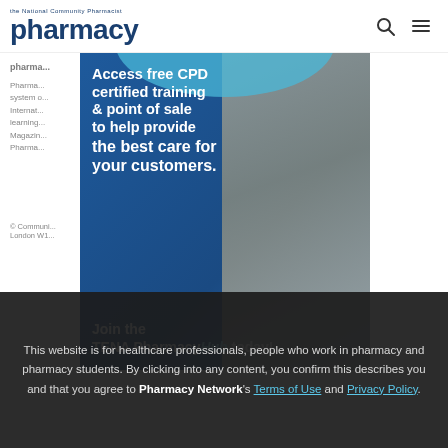[Figure (logo): Pharmacy magazine logo with blue text]
pharmacy
Pharmacy provides a digital system of learning through International... CPD learning... Pharmacy Magazine... Independent Pharmacy
© Community Pharmacy... int Street, London W1...
[Figure (advertisement): TENA PharmacyHub advertisement: Access free CPD certified training & point of sale to help provide the best care for your customers. Join the TENA PharmacyHub today!]
This website is for healthcare professionals, people who work in pharmacy and pharmacy students. By clicking into any content, you confirm this describes you and that you agree to Pharmacy Network's Terms of Use and Privacy Policy.